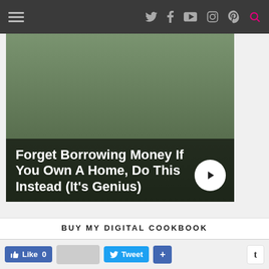Navigation bar with hamburger menu and social icons (Twitter, Facebook, YouTube, Instagram, Pinterest, Search)
[Figure (photo): Advertisement banner: person legs on garden path background with overlay text 'Forget Borrowing Money If You Own A Home, Do This Instead (It's Genius)' and a white circular arrow button]
BUY MY DIGITAL COOKBOOK
[Figure (photo): Partial view of a book cover showing red text 'A TIME TO...' with a person's head visible, and a silver spine on the right side]
Like 0 | Tweet | + | t